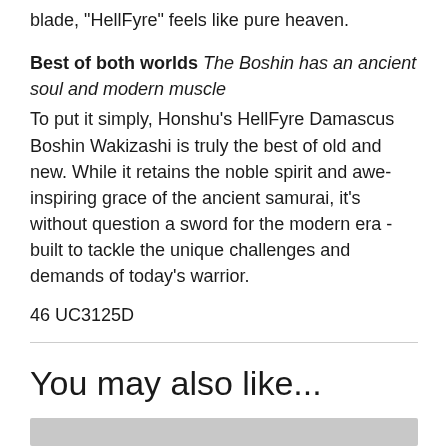blade, "HellFyre" feels like pure heaven.
Best of both worlds The Boshin has an ancient soul and modern muscle
To put it simply, Honshu's HellFyre Damascus Boshin Wakizashi is truly the best of old and new. While it retains the noble spirit and awe-inspiring grace of the ancient samurai, it's without question a sword for the modern era - built to tackle the unique challenges and demands of today's warrior.
46 UC3125D
You may also like...